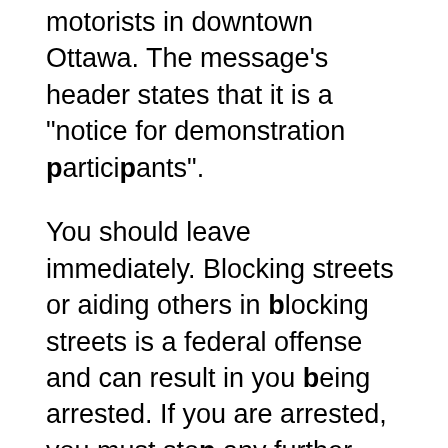motorists in downtown Ottawa. The message's header states that it is a “notice for demonstration participants”.
You should leave immediately. Blocking streets or aiding others in blocking streets is a federal offense and can result in you being arrested. If you are arrested, you must stop any further illegal activity. Depending on the factors in Part XVI, you might be released on bail if you are arrested.
You are closing down businesses and denying Ottawa residents the legal enjoyment, lawful use, and operation of their properties. This is criminal code mischief.
The USA may deny entry to anyone who is